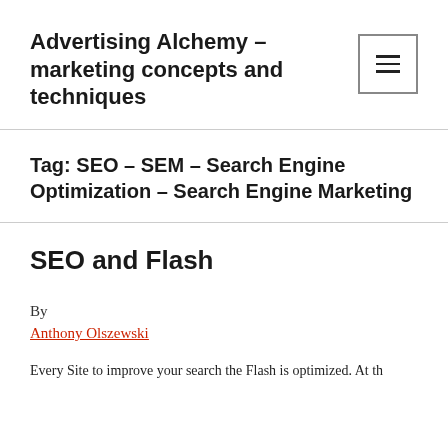Advertising Alchemy – marketing concepts and techniques
Tag: SEO – SEM – Search Engine Optimization – Search Engine Marketing
SEO and Flash
By
Anthony Olszewski
Every Site to improve your search the Flash is optimized. At th...